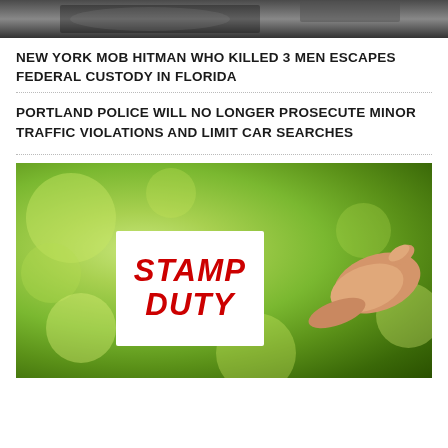[Figure (photo): Top portion of a photo showing a dark scene, partially cropped, likely showing a car or person in shadow]
NEW YORK MOB HITMAN WHO KILLED 3 MEN ESCAPES FEDERAL CUSTODY IN FLORIDA
PORTLAND POLICE WILL NO LONGER PROSECUTE MINOR TRAFFIC VIOLATIONS AND LIMIT CAR SEARCHES
[Figure (photo): A hand holding a white card with the words STAMP DUTY written in large red bold italic uppercase letters, against a blurred green bokeh background]